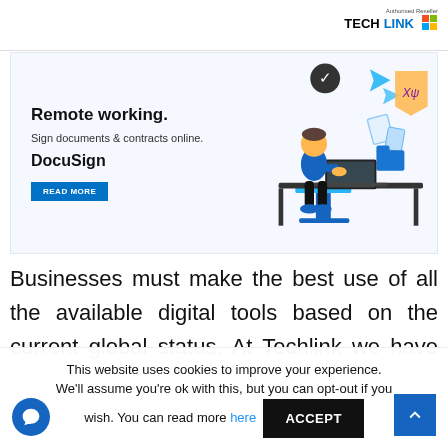TECHLINK (Authorised Reseller) Microsoft
[Figure (illustration): DocuSign advertisement banner: 'Remote working. Sign documents & contracts online. DocuSign' with illustration of a person working at a laptop with digital signature elements floating around, and a READ MORE button. TECHLINK Authorised Reseller Microsoft logo in top right.]
Businesses must make the best use of all the available digital tools based on the current global status. At Techlink we have partnered
This website uses cookies to improve your experience. We'll assume you're ok with this, but you can opt-out if you wish. You can read more here ACCEPT